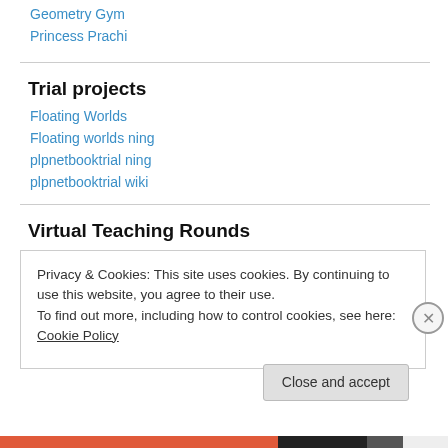Geometry Gym
Princess Prachi
Trial projects
Floating Worlds
Floating worlds ning
plpnetbooktrial ning
plpnetbooktrial wiki
Virtual Teaching Rounds
Privacy & Cookies: This site uses cookies. By continuing to use this website, you agree to their use.
To find out more, including how to control cookies, see here: Cookie Policy
Close and accept